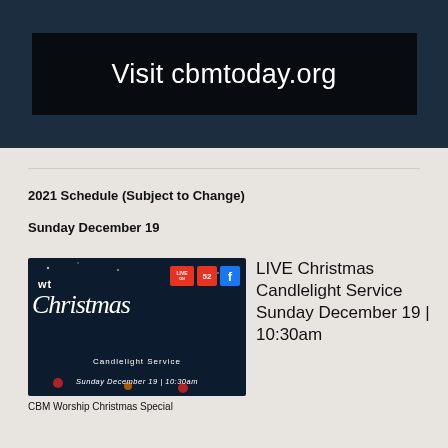[Figure (illustration): Dark navy blue banner image with text 'Visit cbmtoday.org' in white on a black background strip]
2021 Schedule (Subject to Change)
Sunday December 19
[Figure (photo): Dark navy promotional image for WT Christmas Candlelight Service showing 'wt' and 'Christmas' in stylized text, with '52', 'LIVE ON', and Facebook logos in top right, and text 'Candlelight Service' and 'Sunday December 19 | 10:30am' at bottom]
CBM Worship Christmas Special
LIVE Christmas Candlelight Service Sunday December 19 | 10:30am